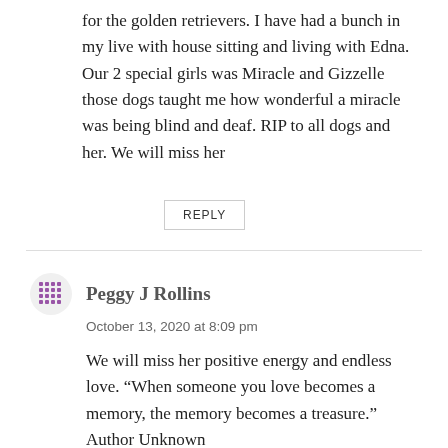for the golden retrievers. I have had a bunch in my live with house sitting and living with Edna. Our 2 special girls was Miracle and Gizzelle those dogs taught me how wonderful a miracle was being blind and deaf. RIP to all dogs and her. We will miss her
REPLY
Peggy J Rollins
October 13, 2020 at 8:09 pm
We will miss her positive energy and endless love. “When someone you love becomes a memory, the memory becomes a treasure.” Author Unknown
REPLY